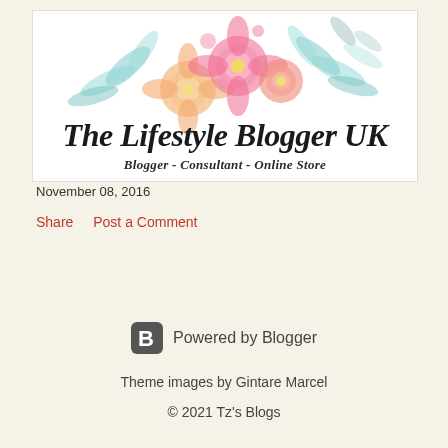[Figure (illustration): Banner image for 'The Lifestyle Blogger UK' blog with watercolor floral arrangement at top, blog title in large italic serif font, and subtitle 'Blogger - Consultant - Online Store']
November 08, 2016
Share   Post a Comment
[Figure (logo): Blogger 'B' icon logo in rounded square]
Powered by Blogger
Theme images by Gintare Marcel
© 2021 Tz's Blogs